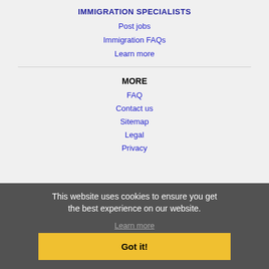IMMIGRATION SPECIALISTS
Post jobs
Immigration FAQs
Learn more
MORE
FAQ
Contact us
Sitemap
Legal
Privacy
This website uses cookies to ensure you get the best experience on our website.
Learn more
Got it!
NEARBY CITIES
Blacksburg, VA Jobs
Cary, NC Jobs
Chapel Hill, NC Jobs